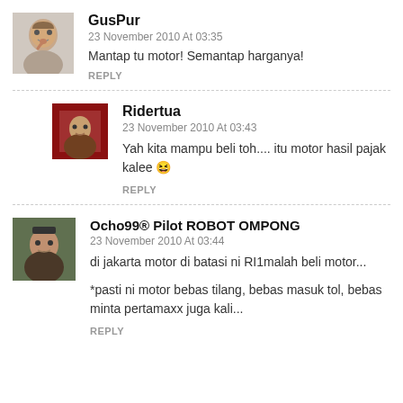[Figure (photo): Avatar of GusPur, a caricature-style image of an older man]
GusPur
23 November 2010 At 03:35
Mantap tu motor! Semantap harganya!
REPLY
[Figure (photo): Avatar of Ridertua, a small red image with a figure]
Ridertua
23 November 2010 At 03:43
Yah kita mampu beli toh.... itu motor hasil pajak kalee 😆
REPLY
[Figure (photo): Avatar of Ocho99, a photo of a person]
Ocho99® Pilot ROBOT OMPONG
23 November 2010 At 03:44
di jakarta motor di batasi ni RI1malah beli motor...
*pasti ni motor bebas tilang, bebas masuk tol, bebas minta pertamaxx juga kali...
REPLY